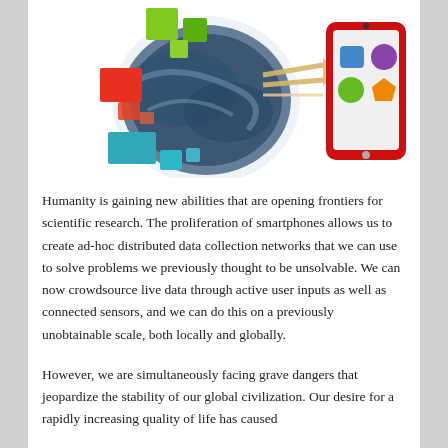[Figure (illustration): Illustration showing a globe/Earth sphere with colorful geometric shapes (green, red, orange, teal rectangles) floating around it, connected by lines/arrows to a red smartphone/tablet device displaying colored app icons (blue square, purple circle, green circle, orange pentagon).]
Humanity is gaining new abilities that are opening frontiers for scientific research. The proliferation of smartphones allows us to create ad-hoc distributed data collection networks that we can use to solve problems we previously thought to be unsolvable. We can now crowdsource live data through active user inputs as well as connected sensors, and we can do this on a previously unobtainable scale, both locally and globally.
However, we are simultaneously facing grave dangers that jeopardize the stability of our global civilization. Our desire for a rapidly increasing quality of life has caused